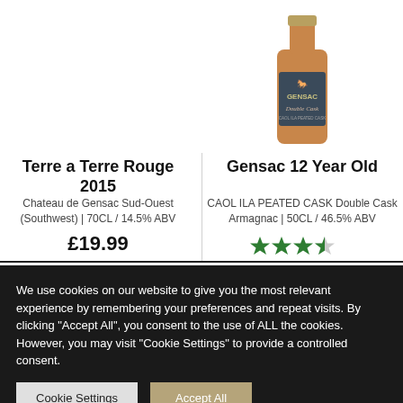[Figure (photo): White space where a wine bottle image would be for Terre a Terre Rouge 2015]
[Figure (photo): Gensac Double Cask Armagnac bottle with dark label showing a horse logo and the text GENSAC and Double Cask]
Terre a Terre Rouge 2015
Chateau de Gensac Sud-Ouest (Southwest) | 70CL / 14.5% ABV
£19.99
Gensac 12 Year Old
CAOL ILA PEATED CASK Double Cask Armagnac | 50CL / 46.5% ABV
[Figure (other): 3.5 out of 5 green stars rating]
We use cookies on our website to give you the most relevant experience by remembering your preferences and repeat visits. By clicking "Accept All", you consent to the use of ALL the cookies. However, you may visit "Cookie Settings" to provide a controlled consent.
Cookie Settings
Accept All